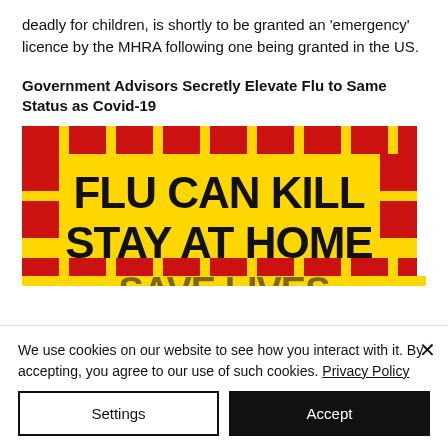deadly for children, is shortly to be granted an 'emergency' licence by the MHRA following one being granted in the US.
Government Advisors Secretly Elevate Flu to Same Status as Covid-19
[Figure (illustration): A yellow warning sign with red checkered border reading 'FLU CAN KILL STAY AT HOME SAVE LIVES' in bold black text]
We use cookies on our website to see how you interact with it. By accepting, you agree to our use of such cookies. Privacy Policy
Settings
Accept